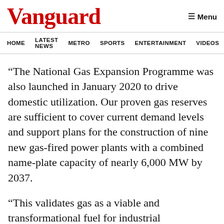Vanguard
HOME   LATEST NEWS   METRO   SPORTS   ENTERTAINMENT   VIDEOS
“The National Gas Expansion Programme was also launched in January 2020 to drive domestic utilization. Our proven gas reserves are sufficient to cover current demand levels and support plans for the construction of nine new gas-fired power plants with a combined name-plate capacity of nearly 6,000 MW by 2037.
“This validates gas as a viable and transformational fuel for industrial development. This is why President Muhammadu Buhari who is